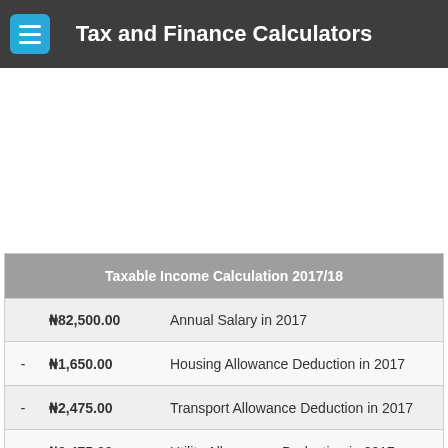Tax and Finance Calculators
|  | Amount | Description |
| --- | --- | --- |
|  | ₦82,500.00 | Annual Salary in 2017 |
| - | ₦1,650.00 | Housing Allowance Deduction in 2017 |
| - | ₦2,475.00 | Transport Allowance Deduction in 2017 |
| - | ₦2,475.00 | Utility Allowances Deduction in 2017 |
| - | ₦3,300.00 | Meal and Entertainment Allowances in 2017 |